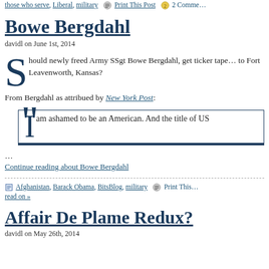those who serve, Liberal, military  Print This Post  2 Comme...
Bowe Bergdahl
davidl on June 1st, 2014
Should newly freed Army SSgt Bowe Bergdahl, get ticker tape... to Fort Leavenworth, Kansas?
From Bergdahl as attribued by New York Post:
“I am ashamed to be an American. And the title of US
...
Continue reading about Bowe Bergdahl
Afghanistan, Barack Obama, BitsBlog, military  Print This... read on »
Affair De Plame Redux?
davidl on May 26th, 2014